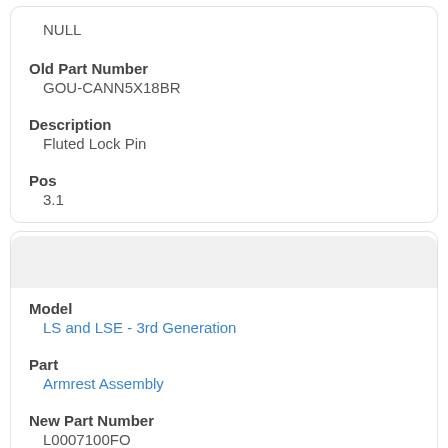NULL
Old Part Number
GOU-CANN5X18BR
Description
Fluted Lock Pin
Pos
3.1
Model
LS and LSE - 3rd Generation
Part
Armrest Assembly
New Part Number
L0007100FO